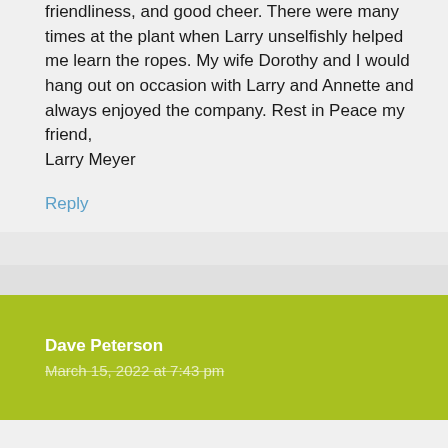friendliness, and good cheer. There were many times at the plant when Larry unselfishly helped me learn the ropes. My wife Dorothy and I would hang out on occasion with Larry and Annette and always enjoyed the company. Rest in Peace my friend,
Larry Meyer
Reply
Dave Peterson
March 15, 2022 at 7:43 pm